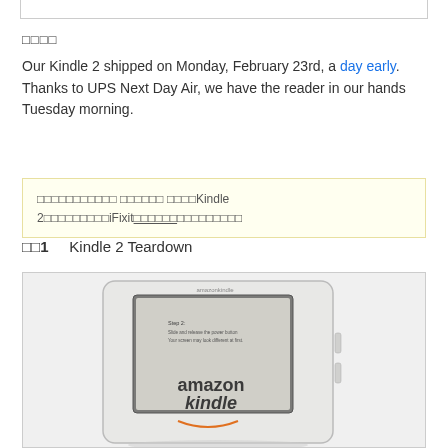□□□□
Our Kindle 2 shipped on Monday, February 23rd, a day early. Thanks to UPS Next Day Air, we have the reader in our hands Tuesday morning.
□□□□□□□□□□□ □□□□□□ □□□□Kindle 2□□□□□□□□□iFixit□□□□□□□□□□□□□□□
□□1    Kindle 2 Teardown
[Figure (photo): Photo of Amazon Kindle 2 e-reader device with amazonkindle branding visible on the screen]